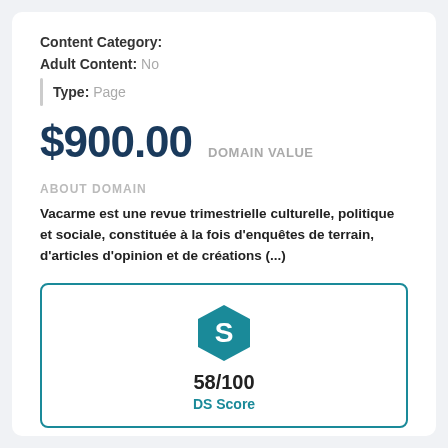Content Category:
Adult Content: No
Type: Page
$900.00 DOMAIN VALUE
ABOUT DOMAIN
Vacarme est une revue trimestrielle culturelle, politique et sociale, constituée à la fois d'enquêtes de terrain, d'articles d'opinion et de créations (...)
[Figure (logo): Teal hexagon logo with letter S inside, above score 58/100 and DS Score label]
58/100
DS Score